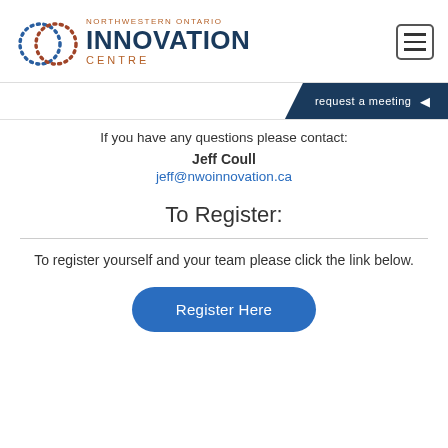[Figure (logo): Northwestern Ontario Innovation Centre logo with two interlocking dotted circles (one blue, one red/brown) and the text NORTHWESTERN ONTARIO INNOVATION CENTRE]
If you have any questions please contact:
Jeff Coull
jeff@nwoinnovation.ca
To Register:
To register yourself and your team please click the link below.
Register Here